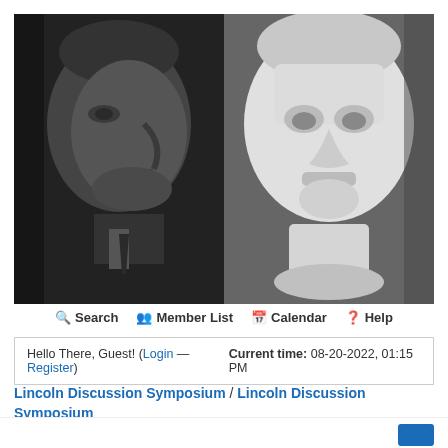[Figure (photo): Black and white composite image: on the left, a photograph of Abraham Lincoln in profile facing right; on the right, a white plaster or marble bust sculpture of Abraham Lincoln facing slightly left, showing detailed facial features.]
Search  Member List  Calendar  Help
Hello There, Guest! (Login — Register)  Current time: 08-20-2022, 01:15 PM
Lincoln Discussion Symposium / Lincoln Discussion Symposium / Trivia Questions - all things Lincoln ▼ / Seasonal Trivia